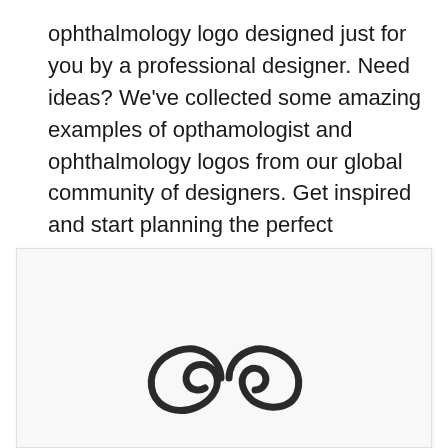ophthalmology logo designed just for you by a professional designer. Need ideas? We've collected some amazing examples of opthamologist and ophthalmology logos from our global community of designers. Get inspired and start planning the perfect ophthalmology logo design today.
[Figure (logo): A stylized ophthalmology logo consisting of two overlapping circular/spiral shapes resembling eyes or infinity symbol, rendered in dark charcoal/black on a light gray background card.]